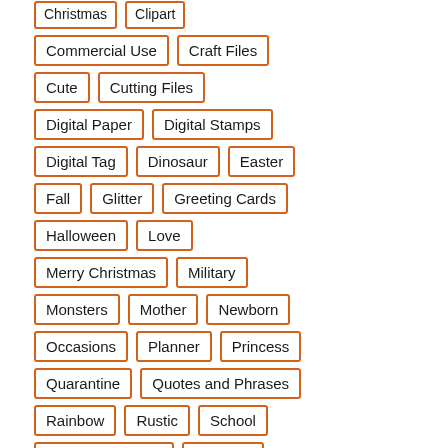Christmas
Clipart
Commercial Use
Craft Files
Cute
Cutting Files
Digital Paper
Digital Stamps
Digital Tag
Dinosaur
Easter
Fall
Glitter
Greeting Cards
Halloween
Love
Merry Christmas
Military
Monsters
Mother
Newborn
Occasions
Planner
Princess
Quarantine
Quotes and Phrases
Rainbow
Rustic
School
Scrapbook Paper
Seasons
Snow
Spring
Summer
USA